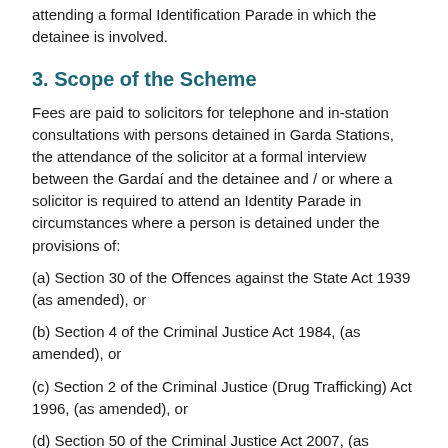attending a formal Identification Parade in which the detainee is involved.
3. Scope of the Scheme
Fees are paid to solicitors for telephone and in-station consultations with persons detained in Garda Stations, the attendance of the solicitor at a formal interview between the Gardaí and the detainee and / or where a solicitor is required to attend an Identity Parade in circumstances where a person is detained under the provisions of:
(a) Section 30 of the Offences against the State Act 1939 (as amended), or
(b) Section 4 of the Criminal Justice Act 1984, (as amended), or
(c) Section 2 of the Criminal Justice (Drug Trafficking) Act 1996, (as amended), or
(d) Section 50 of the Criminal Justice Act 2007, (as amended),
and,